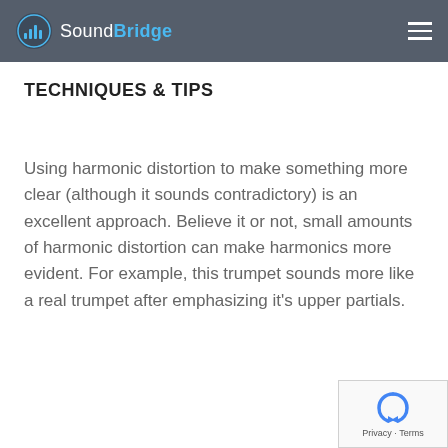SoundBridge
TECHNIQUES & TIPS
Using harmonic distortion to make something more clear (although it sounds contradictory) is an excellent approach. Believe it or not, small amounts of harmonic distortion can make harmonics more evident. For example, this trumpet sounds more like a real trumpet after emphasizing it's upper partials.